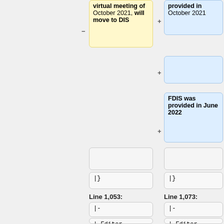[Figure (other): Diff view showing wiki/document changes. Left column shows old content, right column shows new content with +/- markers. Top section: left box (yellow) 'virtual meeting of October 2021, will move to DIS', right box (blue) 'provided in October 2021'. Right column second box (blue) empty with + sign. Right column third box (blue) 'FDIS was provided in June 2022'. Then empty boxes on both sides. Code boxes showing '|}' on both sides. Line 1,053: and Line 1,073: labels. Code boxes '|-' on both sides. Code boxes '| Editor' on both sides. Left (yellow) '| Christoph Stenuit, Andrew Hughes, Kelvin'. Right (blue) '| Jan LIndquist, Andrew Hughes'.]